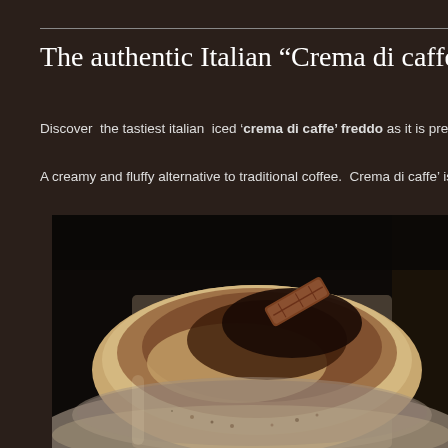The authentic Italian “Crema di caffe’ freddo
Discover  the tastiest italian  iced ‘crema di caffe’ freddo as it is prepared in Ital…
A creamy and fluffy alternative to traditional coffee.  Crema di caffe’ is an icy mixt…
[Figure (photo): Close-up photo of an Italian crema di caffe freddo in a glass, showing creamy coffee foam topped with cocoa powder and what appears to be a biscotti cookie, photographed in dark moody lighting.]